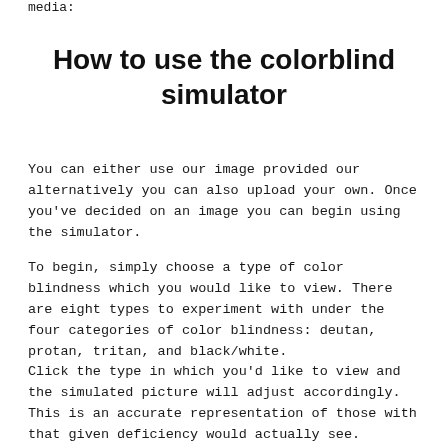media:
How to use the colorblind simulator
You can either use our image provided our alternatively you can also upload your own. Once you've decided on an image you can begin using the simulator.
To begin, simply choose a type of color blindness which you would like to view. There are eight types to experiment with under the four categories of color blindness: deutan, protan, tritan, and black/white.
Click the type in which you'd like to view and the simulated picture will adjust accordingly. This is an accurate representation of those with that given deficiency would actually see.